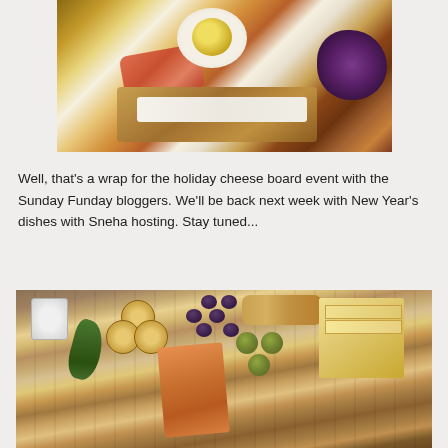[Figure (photo): Close-up photo of open-faced toast with cream cheese, smoked salmon, and a sliced hard-boiled egg on top, with other appetizers visible around it on a white surface.]
Well, that's a wrap for the holiday cheese board event with the Sunday Funday bloggers. We'll be back next week with New Year's dishes with Sneha hosting. Stay tuned...
[Figure (photo): Overhead photo of a holiday cheese board on a wooden surface featuring crackers, olives, pistachios, cheese slices, charcuterie, fresh figs, herbs, and a jar of cream cheese dip.]